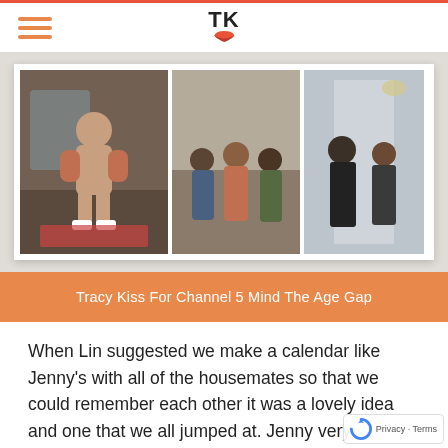TK
[Figure (photo): Collage of three photos: left shows a shirtless man boxing on a deck, center shows a group of people sitting inside a house, right shows two people in a corridor.]
Tracy Kiss For Channel 5 Mind The Age Gap
When Lin suggested we make a calendar like Jenny's with all of the housemates so that we could remember each other it was a lovely idea and one that we all jumped at. Jenny very famously had a naked calendar of her and her friends riding horses, gardening and waltzing around outdoors in the buff so Lin thought it would be hilarious to recreate that with the